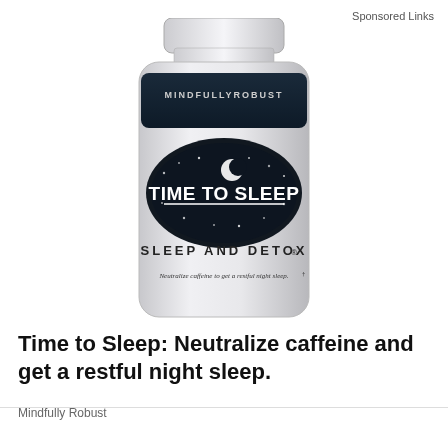Sponsored Links
[Figure (photo): A white supplement bottle with the label 'Mindfully Robust – Time to Sleep – Sleep and Detox – Neutralize caffeine to get a restful night sleep.']
Time to Sleep: Neutralize caffeine and get a restful night sleep.
Mindfully Robust